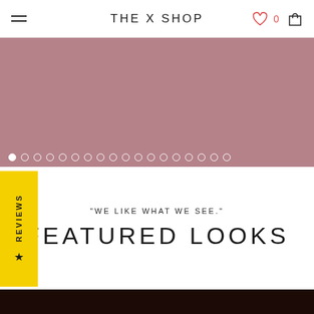THE X SHOP
[Figure (photo): Mauve/dusty rose carousel banner with pagination dots]
"WE LIKE WHAT WE SEE."
FEATURED LOOKS
[Figure (photo): Dark brown product image at bottom of page]